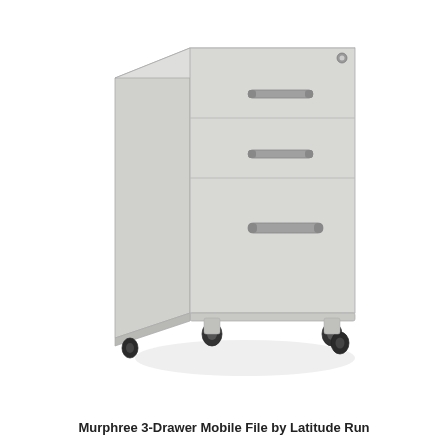[Figure (photo): A light gray metal 3-drawer mobile file cabinet with two small top drawers and one large bottom drawer, each with a horizontal bar handle. The cabinet sits on four black caster wheels. A small lock is visible on the top right corner of the front face. The cabinet is photographed on a white background from a slight angle showing the front and left side.]
Murphree 3-Drawer Mobile File by Latitude Run